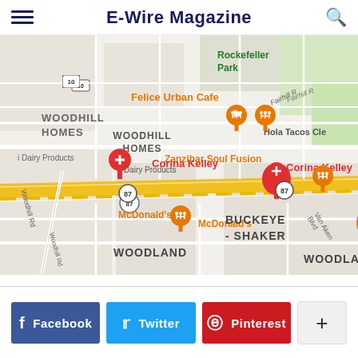E-Wire Magazine
[Figure (map): Google Maps screenshot showing locations in Cleveland, Ohio area including Woodhill Homes, Rockefeller Park, Felice Urban Cafe, Hola Tacos Cleveland, Zanzibar Soul Fusion, Corina Kelley (red pin), McDonald's, Buckeye-Shaker neighborhood, and Woodland neighborhood. Highway 87 runs through the center.]
Facebook  Twitter  Pinterest  +